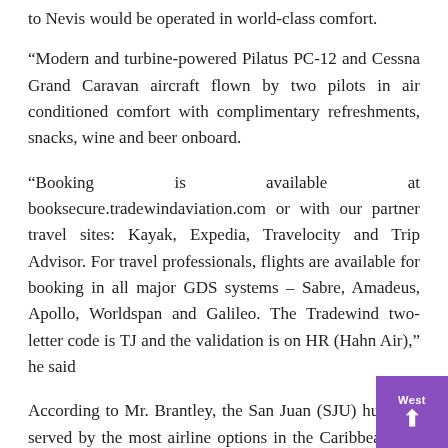to Nevis would be operated in world-class comfort.
“Modern and turbine-powered Pilatus PC-12 and Cessna Grand Caravan aircraft flown by two pilots in air conditioned comfort with complimentary refreshments, snacks, wine and beer onboard.
“Booking is available at booksecure.tradewindaviation.com or with our partner travel sites: Kayak, Expedia, Travelocity and Trip Advisor. For travel professionals, flights are available for booking in all major GDS systems – Sabre, Amadeus, Apollo, Worldspan and Galileo. The Tradewind two-letter code is TJ and the validation is on HR (Hahn Air),” he said
According to Mr. Brantley, the San Juan (SJU) hub was served by the most airline options in the Caribbean and one could connect non-stop with New York, Chicago, Boston, Miami, Philadelphia, Charlotte, Houston, Dallas, Toronto, Baltimore, Hartford, Orlando, Tampa, Jacksonville, Fort Lauderdale, West Palm Beach, Minneapolis, Detroit, Washington DC, Atlanta,